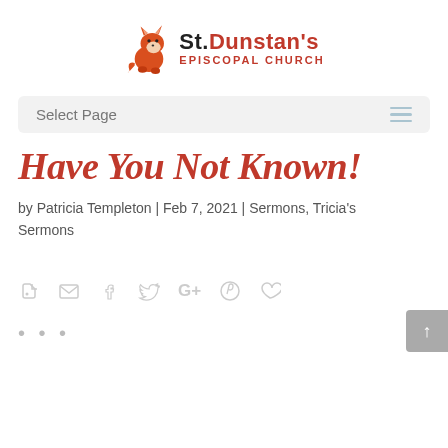St. Dunstan's Episcopal Church
Select Page
Have You Not Known!
by Patricia Templeton | Feb 7, 2021 | Sermons, Tricia's Sermons
[Figure (infographic): Social share icons: Evernote, email, Facebook, Twitter, Google+, Pinterest, heart/like]
...